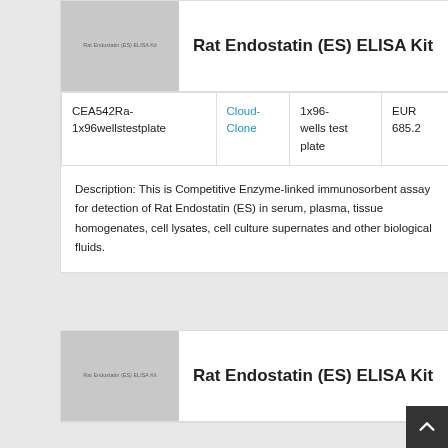[Figure (photo): Product thumbnail image showing Rat Endostatin (ES) ELISA Kit label, light gray placeholder]
Rat Endostatin (ES) ELISA Kit
| CEA542Ra-1x96wellstestplate | Cloud-Clone | 1x96-wells test plate | EUR 685.2 |
Description: This is Competitive Enzyme-linked immunosorbent assay for detection of Rat Endostatin (ES) in serum, plasma, tissue homogenates, cell lysates, cell culture supernates and other biological fluids.
[Figure (photo): Second product thumbnail image showing Rat Endostatin (ES) ELISA Kit label, light gray placeholder]
Rat Endostatin (ES) ELISA Kit